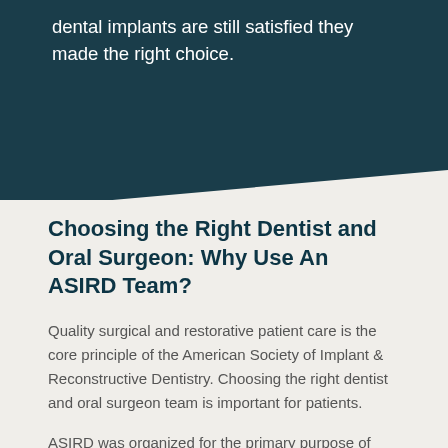dental implants are still satisfied they made the right choice.
Choosing the Right Dentist and Oral Surgeon: Why Use An ASIRD Team?
Quality surgical and restorative patient care is the core principle of the American Society of Implant & Reconstructive Dentistry. Choosing the right dentist and oral surgeon team is important for patients.
ASIRD was organized for the primary purpose of improving the quality of care for dental implant patients